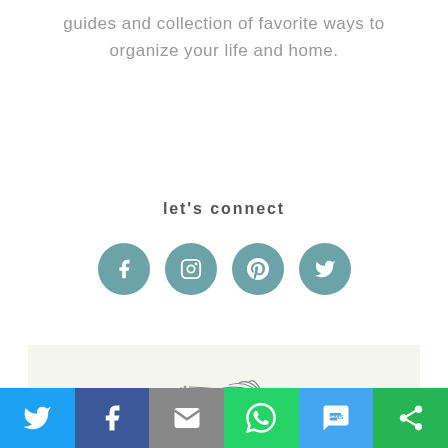guides and collection of favorite ways to organize your life and home.
let's connect
[Figure (infographic): Four circular social media icons (Facebook, Instagram, Pinterest, Twitter) in teal/steel blue color]
[Figure (illustration): Decorative feather/leaf illustration in gray]
join our newsletter
[Figure (infographic): Share bar with six buttons: Twitter (blue), Facebook (dark blue), Email (gray), WhatsApp (green), SMS (light blue), Other (green)]